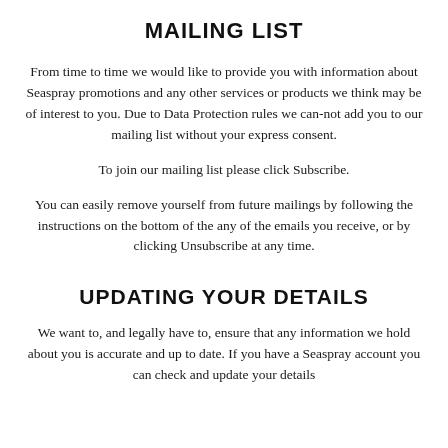MAILING LIST
From time to time we would like to provide you with information about Seaspray promotions and any other services or products we think may be of interest to you. Due to Data Protection rules we can-not add you to our mailing list without your express consent.
To join our mailing list please click Subscribe.
You can easily remove yourself from future mailings by following the instructions on the bottom of the any of the emails you receive, or by clicking Unsubscribe at any time.
UPDATING YOUR DETAILS
We want to, and legally have to, ensure that any information we hold about you is accurate and up to date. If you have a Seaspray account you can check and update your details...